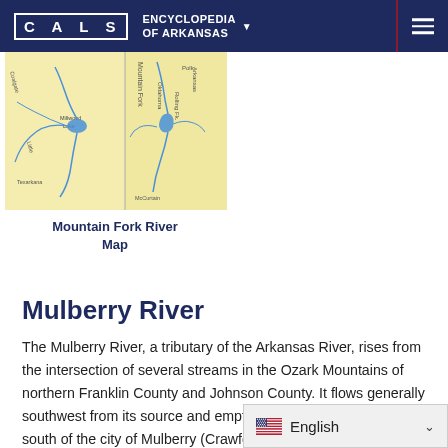CALS ENCYCLOPEDIA OF ARKANSAS
[Figure (map): Mountain Fork River Map showing river routes through Arkansas and Oklahoma counties including Polk, McCurtain, and surrounding areas, with blue water features on a tan/yellow background.]
Mountain Fork River Map
Mulberry River
The Mulberry River, a tributary of the Arkansas River, rises from the intersection of several streams in the Ozark Mountains of northern Franklin County and Johnson County. It flows generally southwest from its source and empties into the Arkansas River south of the city of Mulberry (Crawford County), for a total length of approximately sever...